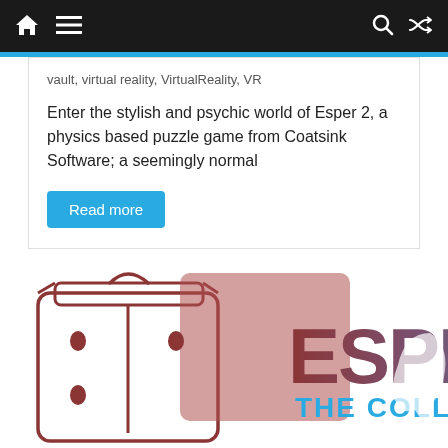Home | Menu | Search | Shuffle
vault, virtual reality, VirtualReality, VR
Enter the stylish and psychic world of Esper 2, a physics based puzzle game from Coatsink Software; a seemingly normal
Read more
[Figure (logo): Esper: The Collection logo with illustrated vault/box graphic on left in red-brown tones, and stylized text 'ESPER THE COLLECTION' on right blending red-brown to blue-grey gradient]